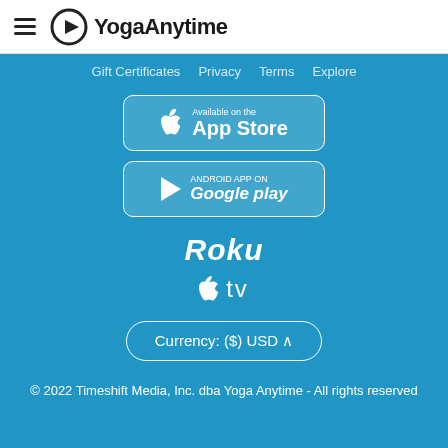[Figure (logo): YogaAnytime logo with hamburger menu icon on white header bar]
Gift Certificates  Privacy  Terms  Explore
[Figure (logo): Available on the App Store button]
[Figure (logo): Android App on Google Play button]
[Figure (logo): Roku logo in white text]
[Figure (logo): Apple TV logo in white]
Currency: ($) USD ∧
© 2022 Timeshift Media, Inc. dba Yoga Anytime - All rights reserved